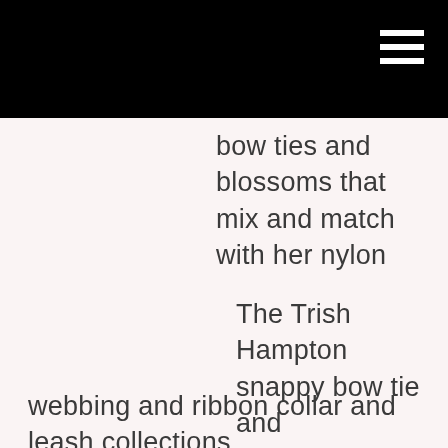bow ties and blossoms that mix and match with her nylon webbing and ribbon collar and leash collections.
The Trish Hampton snappy bow tie and